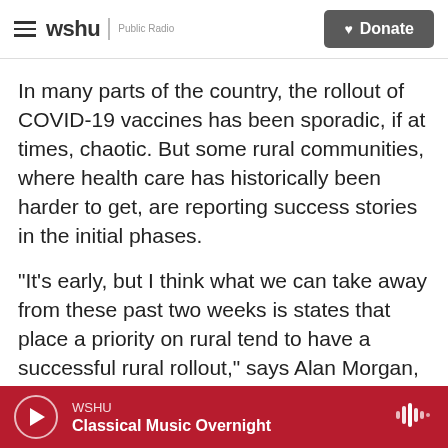wshu | Public Radio — Donate
In many parts of the country, the rollout of COVID-19 vaccines has been sporadic, if at times, chaotic. But some rural communities, where health care has historically been harder to get, are reporting success stories in the initial phases.
"It's early, but I think what we can take away from these past two weeks is states that place a priority on rural tend to have a successful rural rollout," says Alan Morgan, CEO of the National Rural Health Association.
Morgan says some rural communities also just
WSHU — Classical Music Overnight